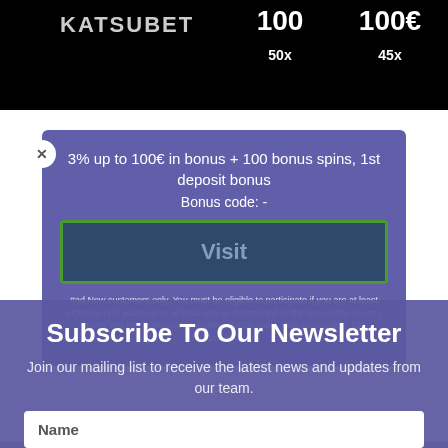[Figure (screenshot): Top black bar showing KATSUBET logo with '100' and '100€' in white bold text, '50x' and '45x' below]
[Figure (screenshot): Purple modal popup showing bonus info: '3% up to 100€ in bonus + 100 bonus spins, 1st deposit bonus', 'Bonus code: -', a Visit button, terms text, and a Subscribe To Our Newsletter overlay with name/email inputs]
No deposit bonuses
5plusbet Casino does not offer any no deposit bonus at this time.